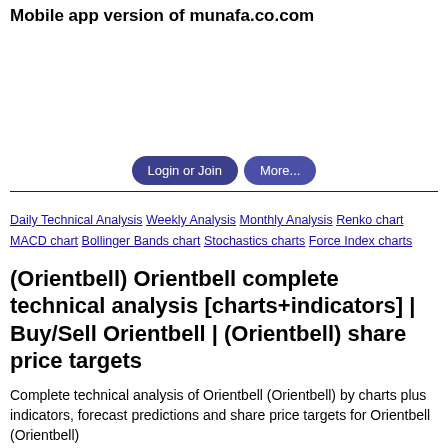Mobile app version of munafa.co.com
[Figure (other): Advertisement area (blank white space)]
Login or Join   More...
Daily Technical Analysis Weekly Analysis Monthly Analysis Renko chart MACD chart Bollinger Bands chart Stochastics charts Force Index charts
(Orientbell) Orientbell complete technical analysis [charts+indicators] | Buy/Sell Orientbell | (Orientbell) share price targets
Complete technical analysis of Orientbell (Orientbell) by charts plus indicators, forecast predictions and share price targets for Orientbell (Orientbell)
10 day averaged volume of Orientbell is 3799